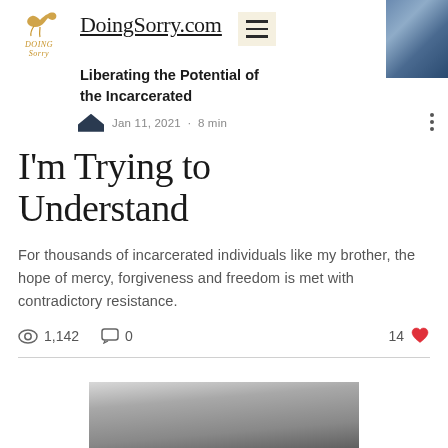DoingSorry.com
Liberating the Potential of the Incarcerated
Jan 11, 2021 · 8 min
I'm Trying to Understand
For thousands of incarcerated individuals like my brother, the hope of mercy, forgiveness and freedom is met with contradictory resistance.
1,142 views · 0 comments · 14 likes